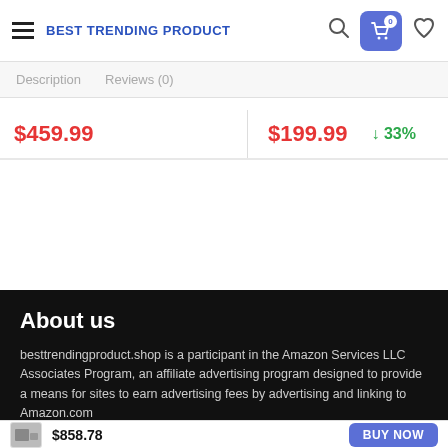BEST TRENDING PRODUCT
Description   Reviews (0)
$459.99   $199.99   ↓33%
About us
besttrendingproduct.shop is a participant in the Amazon Services LLC Associates Program, an affiliate advertising program designed to provide a means for sites to earn advertising fees by advertising and linking to Amazon.com
$858.78   BUY NOW